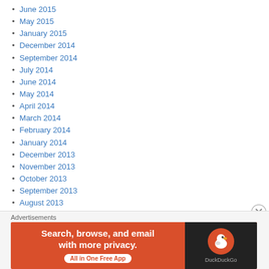June 2015
May 2015
January 2015
December 2014
September 2014
July 2014
June 2014
May 2014
April 2014
March 2014
February 2014
January 2014
December 2013
November 2013
October 2013
September 2013
August 2013
July 2013
June 2013
May 2013
April 2013
March 2013
Advertisements
[Figure (screenshot): DuckDuckGo advertisement banner: orange background with text 'Search, browse, and email with more privacy. All in One Free App' and DuckDuckGo logo on dark right panel]